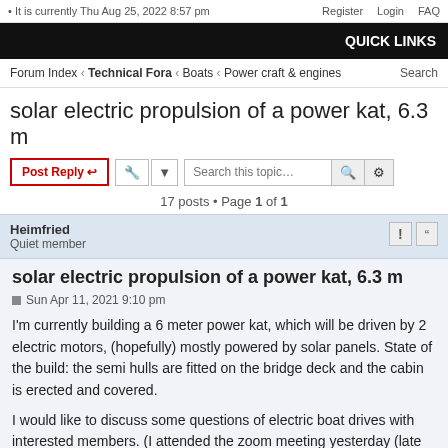• It is currently Thu Aug 25, 2022 8:57 pm   Register   Login   FAQ
QUICK LINKS
Forum Index ‹ Technical Fora ‹ Boats ‹ Power craft & engines   Search
solar electric propulsion of a power kat, 6.3 m
17 posts • Page 1 of 1
Heimfried
Quiet member
solar electric propulsion of a power kat, 6.3 m
Sun Apr 11, 2021 9:10 pm
I'm currently building a 6 meter power kat, which will be driven by 2 electric motors, (hopefully) mostly powered by solar panels. State of the build: the semi hulls are fitted on the bridge deck and the cabin is erected and covered.
I would like to discuss some questions of electric boat drives with interested members. (I attended the zoom meeting yesterday (late after its start). Solar electric drive was a point, but because of technical issues